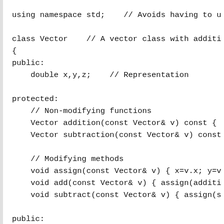using namespace std;    // Avoids having to u

class Vector    // A vector class with additi
{
public:
    double x,y,z;    // Representation

protected:
    // Non-modifying functions
    Vector addition(const Vector& v) const {
    Vector subtraction(const Vector& v) const

    // Modifying methods
    void assign(const Vector& v) { x=v.x; y=v
    void add(const Vector& v) { assign(additi
    void subtract(const Vector& v) { assign(s

public:
    Vector(double a,double b,double c):x(a),y

    Vector& operator+=(const Vector& v) { add